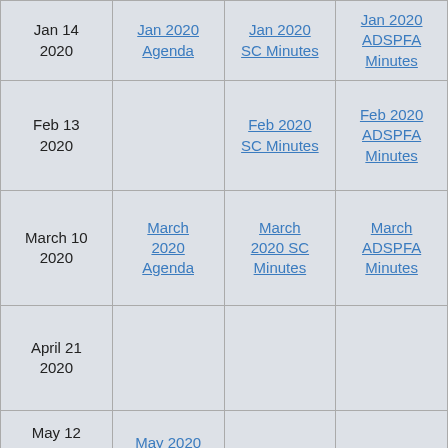| Date | Agenda | SC Minutes | ADSPFA Minutes |
| --- | --- | --- | --- |
| Jan 14 2020 | Jan 2020 Agenda | Jan 2020 SC Minutes | Jan 2020 ADSPFA Minutes |
| Feb 13 2020 |  | Feb 2020 SC Minutes | Feb 2020 ADSPFA Minutes |
| March 10 2020 | March 2020 Agenda | March 2020 SC Minutes | March ADSPFA Minutes |
| April 21 2020 |  |  |  |
| May 12 2020 | May 2020 |  |  |